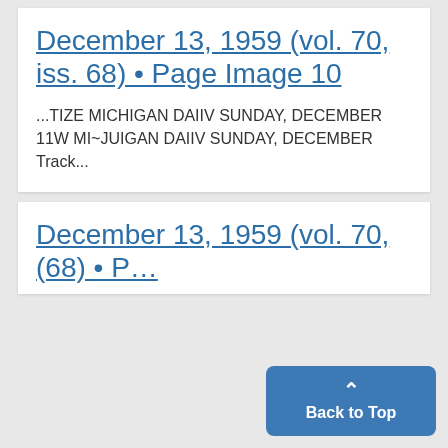December 13, 1959 (vol. 70, iss. 68) • Page Image 10
...TIZE MICHIGAN DAIIV SUNDAY, DECEMBER 11W MI~JUIGAN DAIIV SUNDAY, DECEMBER Track...
December 13, 1959 (vol. 70, (68) • P...